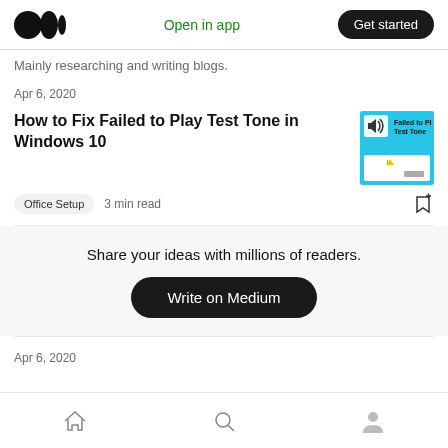Medium logo | Open in app | Get started
Mainly researching and writing blogs.
Apr 6, 2020
How to Fix Failed to Play Test Tone in Windows 10
[Figure (screenshot): Thumbnail image showing Failed to Play Test Tone Windows dialog with speaker icon on blue background]
Office Setup  3 min read
Share your ideas with millions of readers.
Write on Medium
Apr 6, 2020
Home | Search | Profile navigation icons